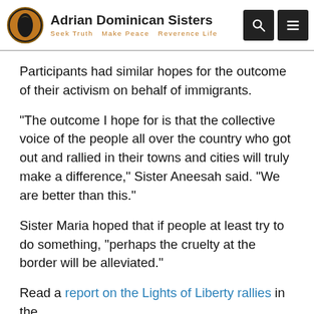Adrian Dominican Sisters — Seek Truth  Make Peace  Reverence Life
Participants had similar hopes for the outcome of their activism on behalf of immigrants.
“The outcome I hope for is that the collective voice of the people all over the country who got out and rallied in their towns and cities will truly make a difference,” Sister Aneesah said. “We are better than this.”
Sister Maria hoped that if people at least try to do something, “perhaps the cruelty at the border will be alleviated.”
Read a report on the Lights of Liberty rallies in the